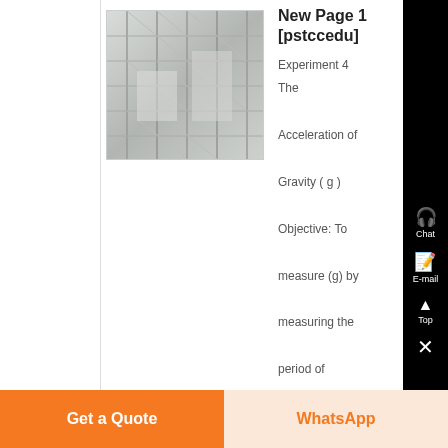[Figure (photo): Scaffolding structure photo — industrial steel frame construction]
New Page 1 [pstccedu]
Experiment 4 The Acceleration of Gravity ( g )
Objective: To measure (g) by measuring the period of oscillations of a simple pendulum Equipment:...
Chat
E-mail
Top
Get a Quote
WhatsApp